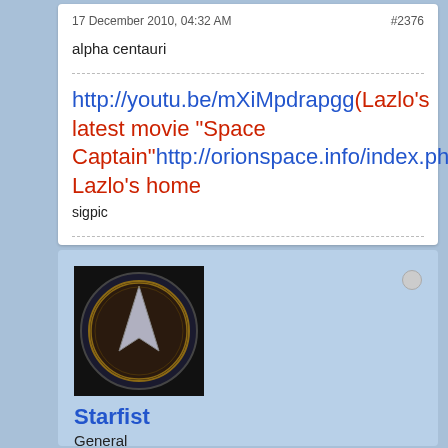17 December 2010, 04:32 AM    #2376
alpha centauri
http://youtu.be/mXiMpdrapgg(Lazlo's latest movie "Space Captain"http://orionspace.info/index.php Lazlo's home
sigpic
[Figure (photo): Star Trek style insignia/badge avatar image with dark background]
Starfist
General
Member Since: Dec 2006   Posts: 24228